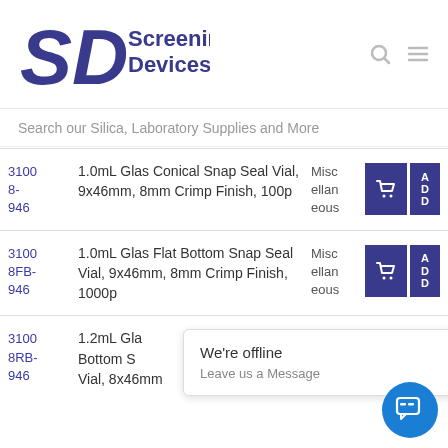SD Screening Devices
Search our Silica, Laboratory Supplies and More
| ID | Description | Category | Actions |
| --- | --- | --- | --- |
| 31008-946 | 1.0mL Glas Conical Snap Seal Vial, 9x46mm, 8mm Crimp Finish, 100p | Miscellaneous | Cart / ADD |
| 31008FB-946 | 1.0mL Glas Flat Bottom Snap Seal Vial, 9x46mm, 8mm Crimp Finish, 1000p | Miscellaneous | Cart / ADD |
| 31008RB-946 | 1.2mL Glas Round Bottom Snap Seal Vial, 8x46mm | Miscellaneous | Cart / ADD |
[Figure (screenshot): We're offline popup with 'Leave us a Message' text and a blue chat button icon]